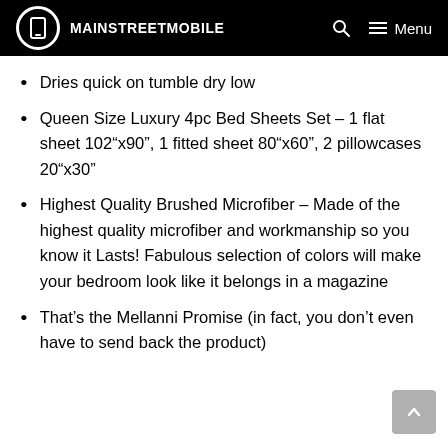MAINSTREETMOBILE
Dries quick on tumble dry low
Queen Size Luxury 4pc Bed Sheets Set – 1 flat sheet 102“x90”, 1 fitted sheet 80“x60”, 2 pillowcases 20“x30”
Highest Quality Brushed Microfiber – Made of the highest quality microfiber and workmanship so you know it Lasts! Fabulous selection of colors will make your bedroom look like it belongs in a magazine
That’s the Mellanni Promise (in fact, you don’t even have to send back the product)